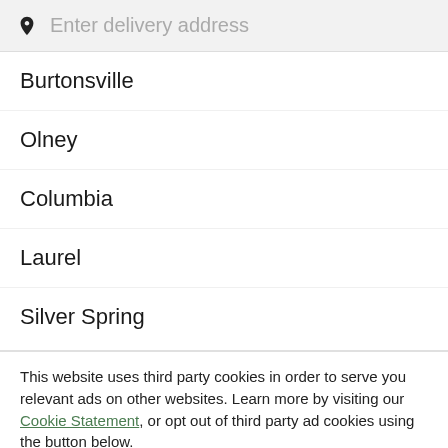Enter delivery address
Burtonsville
Olney
Columbia
Laurel
Silver Spring
This website uses third party cookies in order to serve you relevant ads on other websites. Learn more by visiting our Cookie Statement, or opt out of third party ad cookies using the button below.
OPT OUT
GOT IT